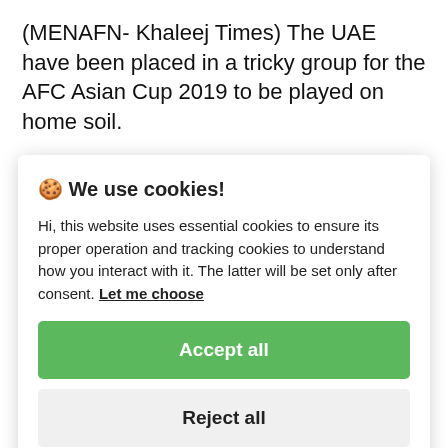(MENAFN- Khaleej Times) The UAE have been placed in a tricky group for the AFC Asian Cup 2019 to be played on home soil.
The Official Draw for the tournament. the
[Figure (screenshot): Cookie consent modal overlay with title '🍪 We use cookies!', body text about essential and tracking cookies, a 'Let me choose' link, an 'Accept all' green button, and a 'Reject all' grey button.]
increase in teams from 16 to 24, takes